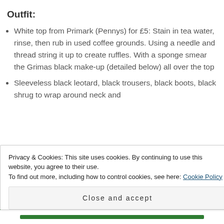Outfit:
White top from Primark (Pennys) for £5: Stain in tea water, rinse, then rub in used coffee grounds. Using a needle and thread string it up to create ruffles. With a sponge smear the Grimas black make-up (detailed below) all over the top
Sleeveless black leotard, black trousers, black boots, black shrug to wrap around neck and
Privacy & Cookies: This site uses cookies. By continuing to use this website, you agree to their use.
To find out more, including how to control cookies, see here: Cookie Policy
Close and accept